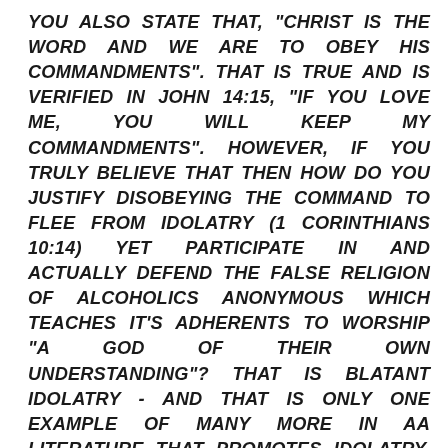YOU ALSO STATE THAT, "CHRIST IS THE WORD AND WE ARE TO OBEY HIS COMMANDMENTS". THAT IS TRUE AND IS VERIFIED IN JOHN 14:15, "IF YOU LOVE ME, YOU WILL KEEP MY COMMANDMENTS". HOWEVER, IF YOU TRULY BELIEVE THAT THEN HOW DO YOU JUSTIFY DISOBEYING THE COMMAND TO FLEE FROM IDOLATRY (1 CORINTHIANS 10:14) YET PARTICIPATE IN AND ACTUALLY DEFEND THE FALSE RELIGION OF ALCOHOLICS ANONYMOUS WHICH TEACHES IT'S ADHERENTS TO WORSHIP "A GOD OF THEIR OWN UNDERSTANDING"? THAT IS BLATANT IDOLATRY - AND THAT IS ONLY ONE EXAMPLE OF MANY MORE IN AA LITERATURE THAT PROMOTES IDOLATRY. ALSO, HOW DO YOU JUSTIFY